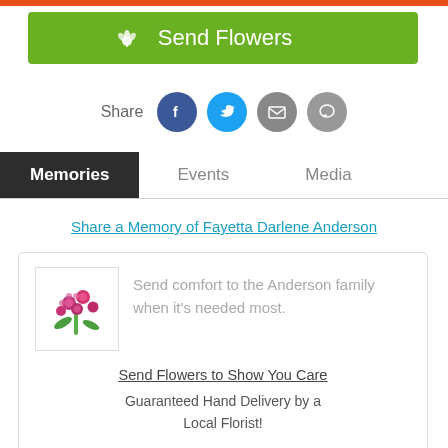[Figure (other): Green 'Send Flowers' button with flower icon]
Share
[Figure (other): Social share icons: Facebook, Twitter, Email, Message]
Memories   Events   Media (tab navigation)
Share a Memory of Fayetta Darlene Anderson
[Figure (other): Flower bouquet image in card]
Send comfort to the Anderson family when it's needed most.
Send Flowers to Show You Care
Guaranteed Hand Delivery by a Local Florist!